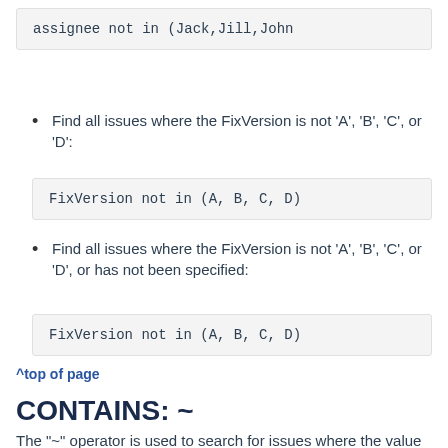assignee not in (Jack,Jill,John
Find all issues where the FixVersion is not 'A', 'B', 'C', or 'D':
FixVersion not in (A, B, C, D)
Find all issues where the FixVersion is not 'A', 'B', 'C', or 'D', or has not been specified:
FixVersion not in (A, B, C, D)
^top of page
CONTAINS: ~
The "~" operator is used to search for issues where the value of the specified field matches the specified value (either an exact match or a "fuzzy" match — see examples below). For use with